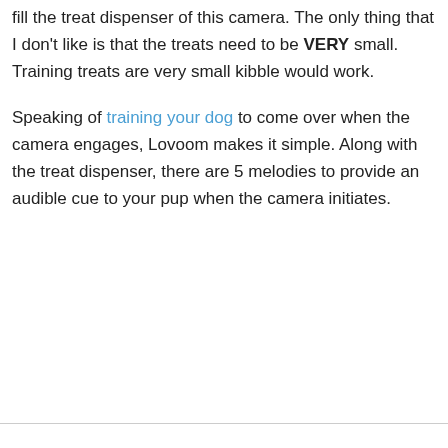fill the treat dispenser of this camera. The only thing that I don't like is that the treats need to be VERY small. Training treats are very small kibble would work.
Speaking of training your dog to come over when the camera engages, Lovoom makes it simple. Along with the treat dispenser, there are 5 melodies to provide an audible cue to your pup when the camera initiates.